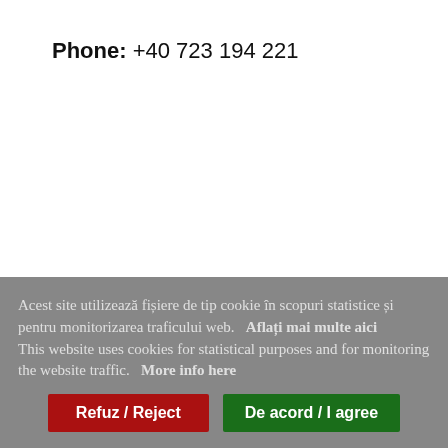Phone: +40 723 194 221
Acest site utilizează fișiere de tip cookie în scopuri statistice și pentru monitorizarea traficului web. Aflați mai multe aici This website uses cookies for statistical purposes and for monitoring the website traffic. More info here
Refuz / Reject
De acord / I agree